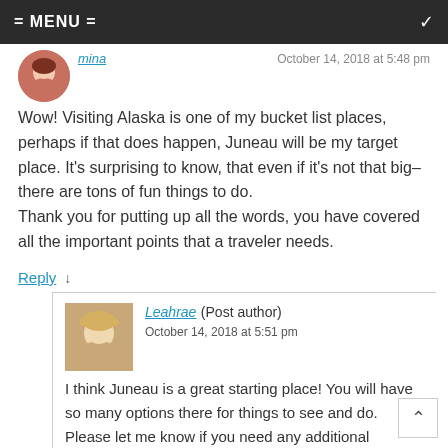= MENU =
mina
October 14, 2018 at 5:48 pm
Wow! Visiting Alaska is one of my bucket list places, perhaps if that does happen, Juneau will be my target place. It's surprising to know, that even if it's not that big– there are tons of fun things to do.
Thank you for putting up all the words, you have covered all the important points that a traveler needs.
Reply ↓
Leahrae (Post author)
October 14, 2018 at 5:51 pm
I think Juneau is a great starting place! You will have so many options there for things to see and do. Please let me know if you need any additional information. Thanks for visiting Juneau Alaska Travel!